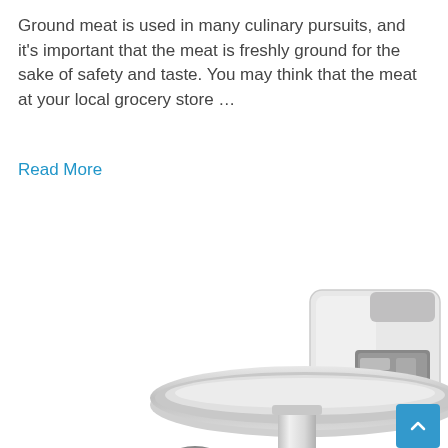Ground meat is used in many culinary pursuits, and it's important that the meat is freshly ground for the sake of safety and taste. You may think that the meat at your local grocery store …
Read More
[Figure (photo): A stainless steel electric meat grinder with a chrome feeding tray on top, chrome grinding mechanism and output tube, and a white electric motor body with a control panel on the side.]